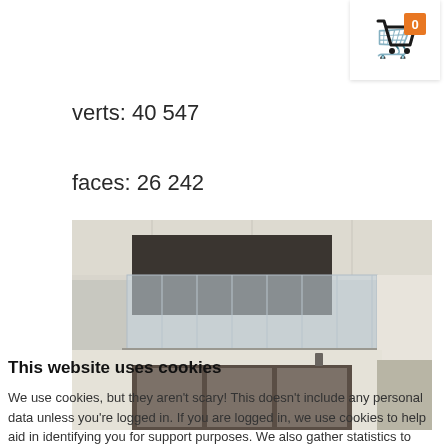[Figure (other): Shopping cart icon with orange badge showing 0]
verts: 40 547
faces: 26 242
[Figure (photo): Modern building exterior with glass balcony railing, dark window frames, and white walls]
This website uses cookies
We use cookies, but they aren't scary! This doesn't include any personal data unless you're logged in. If you are logged in, we use cookies to help aid in identifying you for support purposes. We also gather statistics to make the application a better place to learn, and use marketing cookies for things